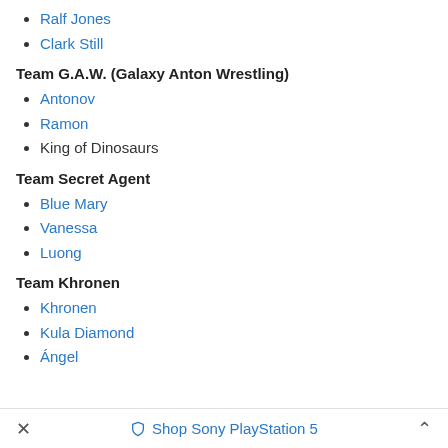Ralf Jones
Clark Still
Team G.A.W. (Galaxy Anton Wrestling)
Antonov
Ramon
King of Dinosaurs
Team Secret Agent
Blue Mary
Vanessa
Luong
Team Khronen
Khronen
Kula Diamond
Ángel
✕  Shop Sony PlayStation 5  ˄